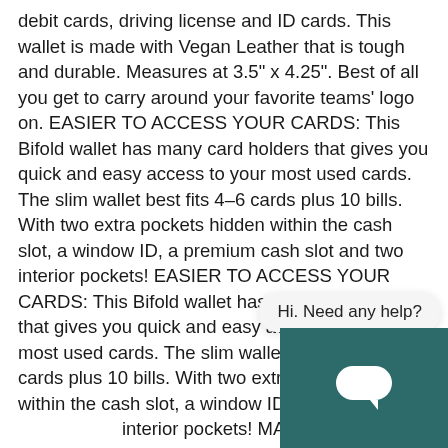debit cards, driving license and ID cards. This wallet is made with Vegan Leather that is tough and durable. Measures at 3.5" x 4.25". Best of all you get to carry around your favorite teams' logo on. EASIER TO ACCESS YOUR CARDS: This Bifold wallet has many card holders that gives you quick and easy access to your most used cards. The slim wallet best fits 4–6 cards plus 10 bills. With two extra pockets hidden within the cash slot, a window ID, a premium cash slot and two interior pockets! EASIER TO ACCESS YOUR CARDS: This Bifold wallet has many card holders that gives you quick and easy access to your most used cards. The slim wallet best fits 4–6 cards plus 10 bills. With two extra pockets hidden within the cash slot, a window ID, a premium cash slot and two interior pockets! MATERIAL: This wallet is made from vegan leather and has an ultra-suede finish that brings a sharp shine to the wallet. It's stitched strongly to give a long-lasting wallet. TEAM PRIDE: Officially licensed by your favorite sports team. Show off your
Hi. Need any help?